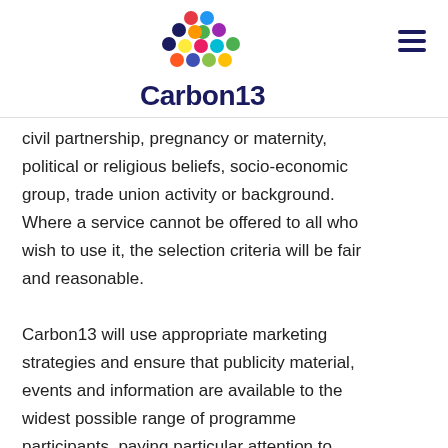Carbon13
civil partnership, pregnancy or maternity, political or religious beliefs, socio-economic group, trade union activity or background. Where a service cannot be offered to all who wish to use it, the selection criteria will be fair and reasonable.
Carbon13 will use appropriate marketing strategies and ensure that publicity material, events and information are available to the widest possible range of programme participants, paying particular attention to